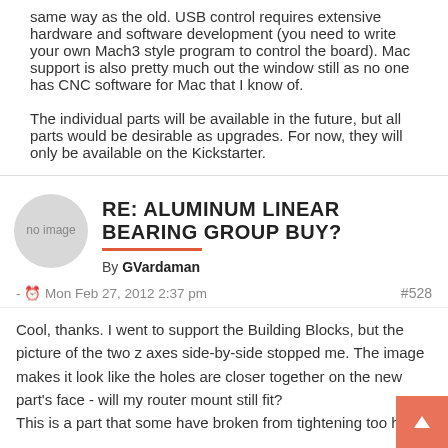same way as the old. USB control requires extensive hardware and software development (you need to write your own Mach3 style program to control the board). Mac support is also pretty much out the window still as no one has CNC software for Mac that I know of.
The individual parts will be available in the future, but all parts would be desirable as upgrades. For now, they will only be available on the Kickstarter.
RE: ALUMINUM LINEAR BEARING GROUP BUY?
By GVardaman
- Mon Feb 27, 2012 2:37 pm   #528
Cool, thanks. I went to support the Building Blocks, but the picture of the two z axes side-by-side stopped me. The image makes it look like the holes are closer together on the new part's face - will my router mount still fit? This is a part that some have broken from tightening too hard